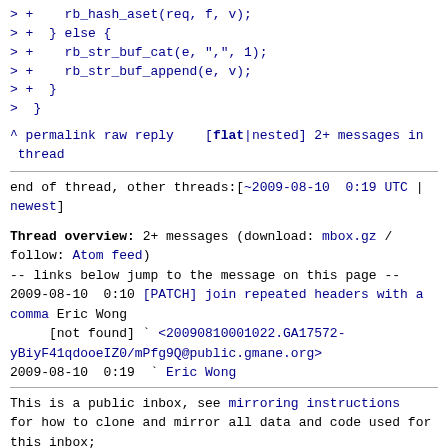> +    rb_hash_aset(req, f, v);
> +  } else {
> +    rb_str_buf_cat(e, ",", 1);
> +    rb_str_buf_append(e, v);
> +  }
>  }
^ permalink raw reply  [flat|nested] 2+ messages in thread
end of thread, other threads:[~2009-08-10  0:19 UTC | newest]
Thread overview: 2+ messages (download: mbox.gz / follow: Atom feed)
-- links below jump to the message on this page --
2009-08-10  0:10 [PATCH] join repeated headers with a comma Eric Wong
     [not found] ` <20090810001022.GA17572-yBiyF41qdooeIZ0/mPfg9Q@public.gmane.org>
2009-08-10  0:19  ` Eric Wong
This is a public inbox, see mirroring instructions for how to clone and mirror all data and code used for this inbox;
as well as URLs for read-only IMAP folder(s) and NNTP newsgroup(s).